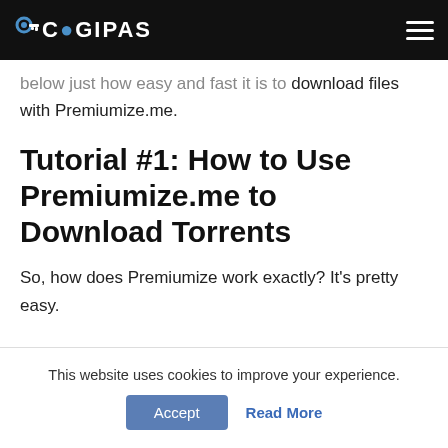COGIPAS
below just how easy and fast it is to download files with Premiumize.me.
Tutorial #1: How to Use Premiumize.me to Download Torrents
So, how does Premiumize work exactly? It’s pretty easy.
This website uses cookies to improve your experience.